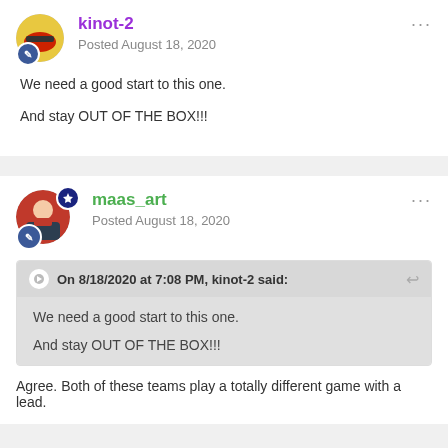kinot-2
Posted August 18, 2020
We need a good start to this one.
And stay OUT OF THE BOX!!!
maas_art
Posted August 18, 2020
On 8/18/2020 at 7:08 PM, kinot-2 said:
We need a good start to this one.

And stay OUT OF THE BOX!!!
Agree. Both of these teams play a totally different game with a lead.